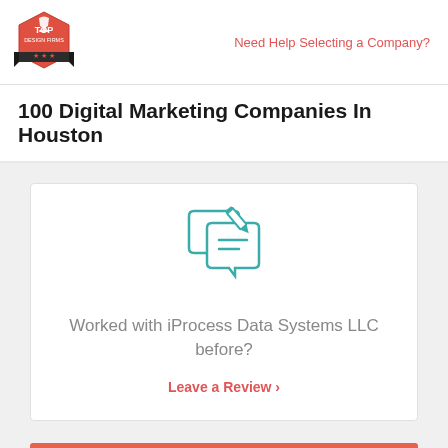[Figure (logo): Top Design Firms badge logo - red hexagon shape with crown icon]
Need Help Selecting a Company?
100 Digital Marketing Companies In Houston
[Figure (illustration): Teal outlined icon of two speech bubbles with a pencil, representing reviews]
Worked with iProcess Data Systems LLC before?
Leave a Review  ›
Visit Site